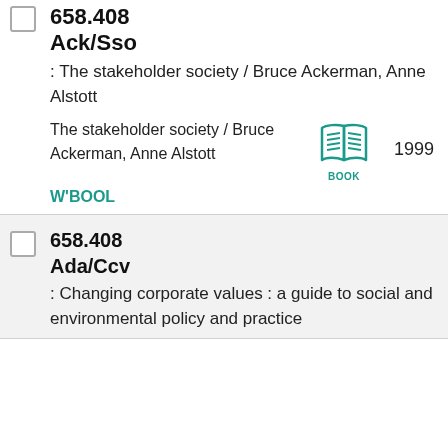658.408 Ack/Sso
: The stakeholder society / Bruce Ackerman, Anne Alstott
The stakeholder society / Bruce Ackerman, Anne Alstott
BOOK 1999
W'BOOL
658.408 Ada/Ccv
: Changing corporate values : a guide to social and environmental policy and practice